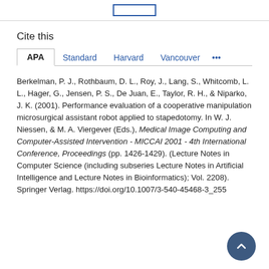Cite this
APA   Standard   Harvard   Vancouver   ...
Berkelman, P. J., Rothbaum, D. L., Roy, J., Lang, S., Whitcomb, L. L., Hager, G., Jensen, P. S., De Juan, E., Taylor, R. H., & Niparko, J. K. (2001). Performance evaluation of a cooperative manipulation microsurgical assistant robot applied to stapedotomy. In W. J. Niessen, & M. A. Viergever (Eds.), Medical Image Computing and Computer-Assisted Intervention - MICCAI 2001 - 4th International Conference, Proceedings (pp. 1426-1429). (Lecture Notes in Computer Science (including subseries Lecture Notes in Artificial Intelligence and Lecture Notes in Bioinformatics); Vol. 2208). Springer Verlag. https://doi.org/10.1007/3-540-45468-3_255